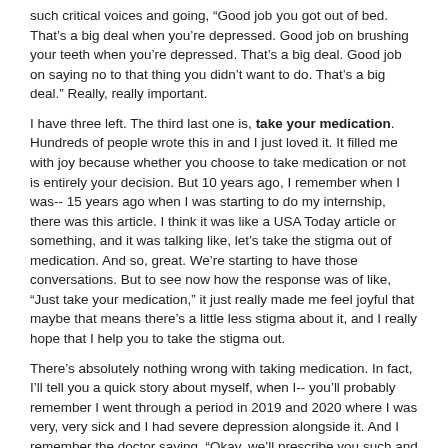such critical voices and going, “Good job you got out of bed. That’s a big deal when you’re depressed. Good job on brushing your teeth when you’re depressed. That’s a big deal. Good job on saying no to that thing you didn’t want to do. That’s a big deal.” Really, really important.
I have three left. The third last one is, take your medication. Hundreds of people wrote this in and I just loved it. It filled me with joy because whether you choose to take medication or not is entirely your decision. But 10 years ago, I remember when I was-- 15 years ago when I was starting to do my internship, there was this article. I think it was like a USA Today article or something, and it was talking like, let’s take the stigma out of medication. And so, great. We’re starting to have those conversations. But to see now how the response was of like, “Just take your medication,” it just really made me feel joyful that maybe that means there’s a little less stigma about it, and I really hope that I help you to take the stigma out.
There’s absolutely nothing wrong with taking medication. In fact, I’ll tell you a quick story about myself, when I-- you’ll probably remember I went through a period in 2019 and 2020 where I was very, very sick and I had severe depression alongside it. And I remember the doctor saying, “Okay, we’ll prescribe you such and such for this condition and such and such. And we’ll prescribe you an SSRI for your depression.” And he didn’t really even ask if I was depressed, he just prescribed it. And I was like, “What? You didn’t even ask me if I was depressed.” And he goes, “No, no. Most people who have POTS,” I have pots, “they get depressed.” And I was like, “Huh, that’s interesting.” And I thought to myself, okay, I don’t-- for a second, I thought, no